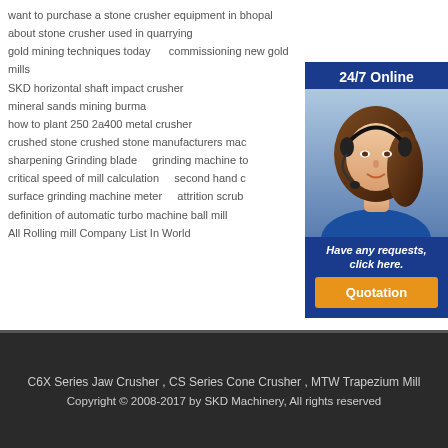want to purchase a stone crusher equipment in bhopal
about stone crusher used in quarrying
gold mining techniques today    commissioning new gold mills
SKD horizontal shaft impact crusher
mineral sands mining burma
how to plant 250 2a400 metal crusher
crushed stone crushed stone manufacturers mac
sharpening Grinding blade    grinding machine to
critical speed of mill calculation    second hand c
surface grinding machine meter    attrition scrub
definition of automatic turbo machine ball mill
All Rolling mill Company List In World
[Figure (photo): 24/7 Online chat agent: woman wearing headset with blue background. Have any requests, click here. Quotation button.]
C6X Series Jaw Crusher , CS Series Cone Crusher , MTW Trapezium Mill
Copyright © 2008-2017 by SKD Machinery, All rights reserved